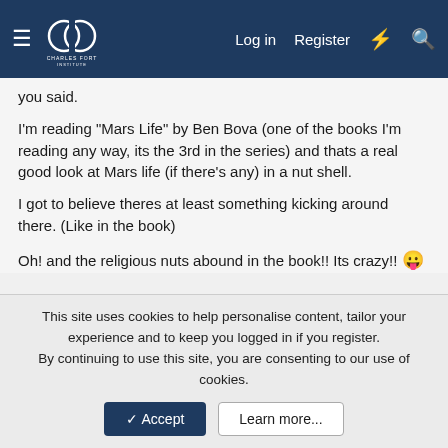Charles Fort Institute — Log in | Register
you said.
I'm reading "Mars Life" by Ben Bova (one of the books I'm reading any way, its the 3rd in the series) and thats a real good look at Mars life (if there's any) in a nut shell.
I got to believe theres at least something kicking around there. (Like in the book)
Oh! and the religious nuts abound in the book!! Its crazy!! 😛
rynner2
Gone But Not Forgotten (ACCOUNT RETIRED)
This site uses cookies to help personalise content, tailor your experience and to keep you logged in if you register.
By continuing to use this site, you are consenting to our use of cookies.